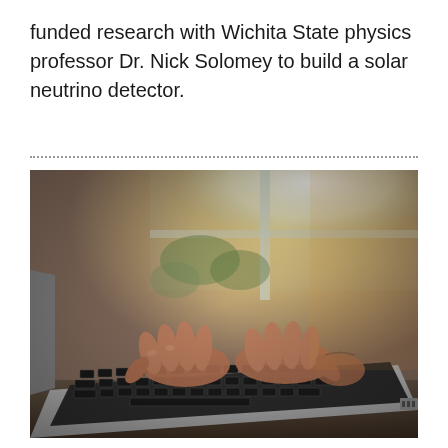funded research with Wichita State physics professor Dr. Nick Solomey to build a solar neutrino detector.
[Figure (photo): Close-up photograph of two hands typing on a laptop keyboard, with bright window light in the background creating a warm backlit effect. The laptop is on a desk surface.]